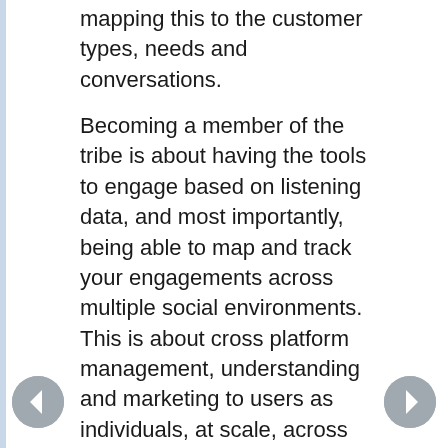mapping this to the customer types, needs and conversations.
Becoming a member of the tribe is about having the tools to engage based on listening data, and most importantly, being able to map and track your engagements across multiple social environments.  This is about cross platform management, understanding and marketing to users as individuals, at scale, across multiple environments.  It's about understanding the people behind the clicks, and building relationships and affinities with them as people.  This is beyond ad tracking or cookie-ing, it's about mapping all of your customer relationships to people.  The end result is that the brand is not just a participant or a talking face, but a member of people's